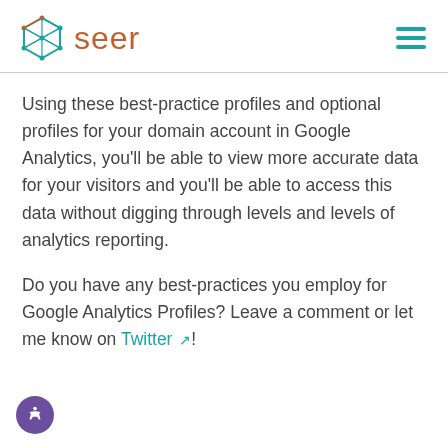seer
Using these best-practice profiles and optional profiles for your domain account in Google Analytics, you'll be able to view more accurate data for your visitors and you'll be able to access this data without digging through levels and levels of analytics reporting.
Do you have any best-practices you employ for Google Analytics Profiles? Leave a comment or let me know on Twitter!